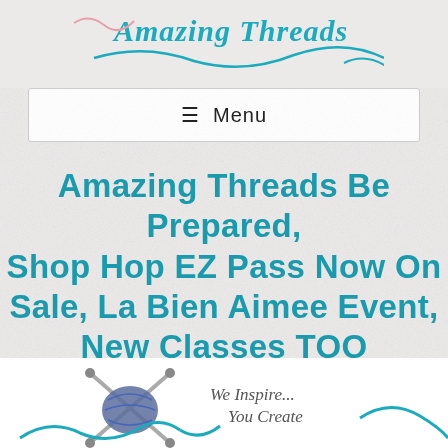[Figure (logo): Amazing Threads yarn/knitting logo at top of page — partial view of teal cursive text with yarn/thread decorative elements]
☰ Menu
Amazing Threads Be Prepared, Shop Hop EZ Pass Now On Sale, La Bien Aimee Event, New Classes TOO
[Figure (logo): Amazing Threads logo at bottom — knitting needles with yarn ball, teal decorative yarn swirls, text 'We Inspire... You Create' in gray italic]